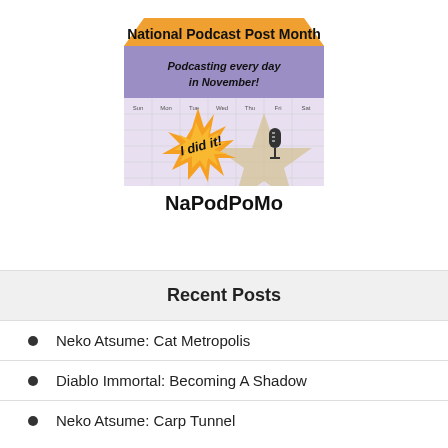[Figure (logo): NaPodPoMo badge - National Podcast Post Month 'I did it!' badge with a starburst design, microphone, star, and calendar background. Text reads 'National Podcast Post Month', 'Podcasting every day in November!', 'I did it!', 'NaPodPoMo']
Recent Posts
Neko Atsume: Cat Metropolis
Diablo Immortal: Becoming A Shadow
Neko Atsume: Carp Tunnel